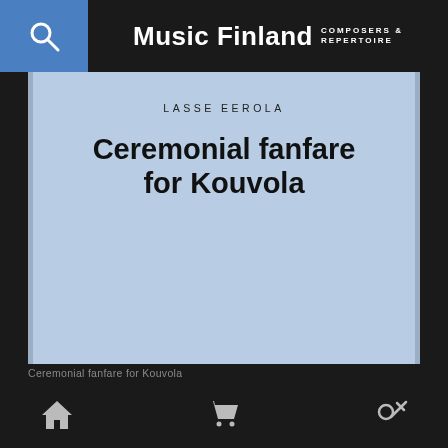Music Finland COMPOSERS & REPERTOIRE
LASSE EEROLA
Ceremonial fanfare for Kouvola
Ceremonial fanfare for Kouvola